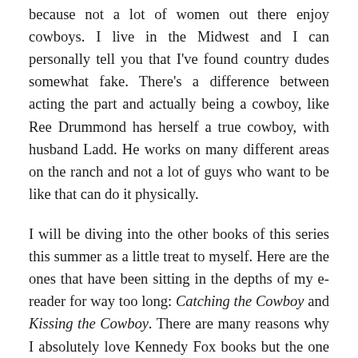because not a lot of women out there enjoy cowboys. I live in the Midwest and I can personally tell you that I've found country dudes somewhat fake. There's a difference between acting the part and actually being a cowboy, like Ree Drummond has herself a true cowboy, with husband Ladd. He works on many different areas on the ranch and not a lot of guys who want to be like that can do it physically.
I will be diving into the other books of this series this summer as a little treat to myself. Here are the ones that have been sitting in the depths of my e-reader for way too long: Catching the Cowboy and Kissing the Cowboy. There are many reasons why I absolutely love Kennedy Fox books but the one thing I love the most is that all of their books (until said otherwise!) are standalones! They may belong in a series and some characters from the other stories can join in through background scenes, and this makes me feel